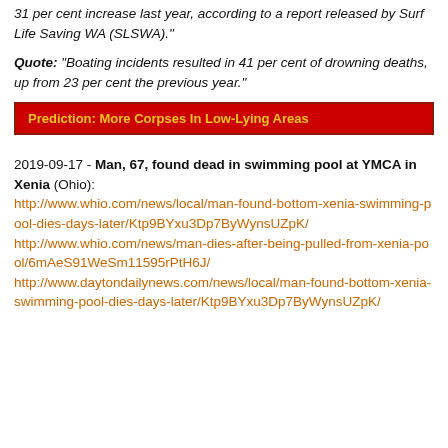31 per cent increase last year, according to a report released by Surf Life Saving WA (SLSWA)."
Quote: "Boating incidents resulted in 41 per cent of drowning deaths, up from 23 per cent the previous year."
[Figure (infographic): Red banner with gold/yellow bold text reading: Prediction: More Corpses In Low-Lying Areas]
2019-09-17 - Man, 67, found dead in swimming pool at YMCA in Xenia (Ohio): http://www.whio.com/news/local/man-found-bottom-xenia-swimming-pool-dies-days-later/Ktp9BYxu3Dp7ByWynsUZpK/ http://www.whio.com/news/man-dies-after-being-pulled-from-xenia-pool/6mAeS91WeSm11595rPtH6J/ http://www.daytondailynews.com/news/local/man-found-bottom-xenia-swimming-pool-dies-days-later/Ktp9BYxu3Dp7ByWynsUZpK/